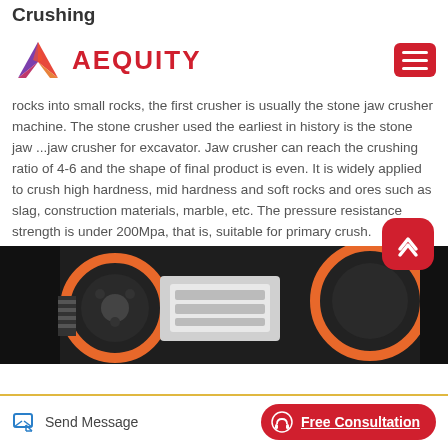Crushing
[Figure (logo): AEQUITY logo with colorful geometric arrow/wing mark and red text, plus red hamburger menu button]
rocks into small rocks, the first crusher is usually the stone jaw crusher machine. The stone crusher used the earliest in history is the stone jaw ...jaw crusher for excavator. Jaw crusher can reach the crushing ratio of 4-6 and the shape of final product is even. It is widely applied to crush high hardness, mid hardness and soft rocks and ores such as slag, construction materials, marble, etc. The pressure resistance strength is under 200Mpa, that is, suitable for primary crush.
[Figure (photo): Close-up photo of industrial jaw crusher machine showing large black and orange wheels/pulleys and white mechanical components]
Send Message   Free Consultation